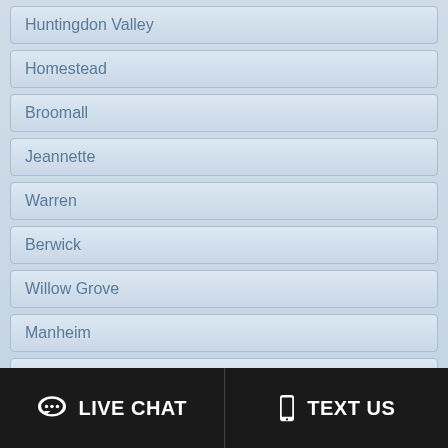Huntingdon Valley
Homestead
Broomall
Jeannette
Warren
Berwick
Willow Grove
Manheim
Greenville
Elkins Park
Carnegie
Jenkintown
LIVE CHAT   TEXT US